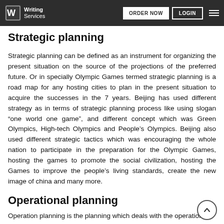Writing Services | ORDER NOW | LOGIN
Strategic planning
Strategic planning can be defined as an instrument for organizing the present situation on the source of the projections of the preferred future. Or in specially Olympic Games termed strategic planning is a road map for any hosting cities to plan in the present situation to acquire the successes in the 7 years. Beijing has used different strategy as in terms of strategic planning process like using slogan “one world one game”, and different concept which was Green Olympics, High-tech Olympics and People’s Olympics. Beijing also used different strategic tactics which was encouraging the whole nation to participate in the preparation for the Olympic Games, hosting the games to promote the social civilization, hosting the Games to improve the people’s living standards, create the new image of china and many more.
Operational planning
Operation planning is the planning which deals with the operation